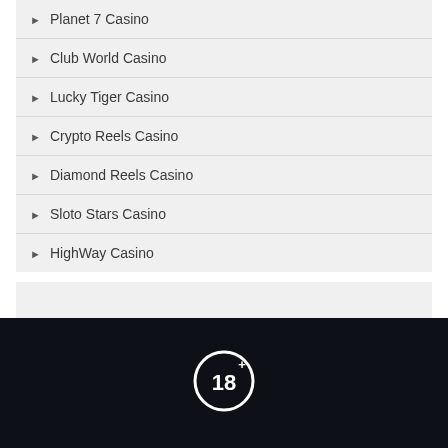Planet 7 Casino
Club World Casino
Lucky Tiger Casino
Crypto Reels Casino
Diamond Reels Casino
Sloto Stars Casino
HighWay Casino
[Figure (illustration): 18+ age restriction badge, white circle with '18+' text on dark navy background]